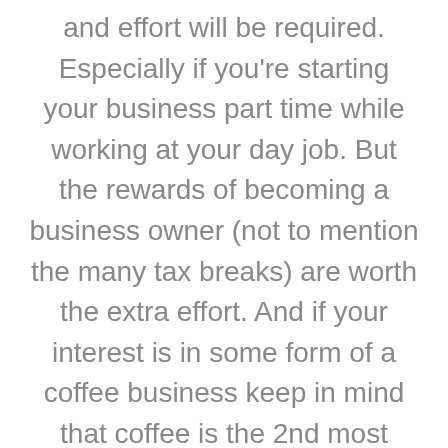and effort will be required. Especially if you're starting your business part time while working at your day job. But the rewards of becoming a business owner (not to mention the many tax breaks) are worth the extra effort. And if your interest is in some form of a coffee business keep in mind that coffee is the 2nd most traded commodity in the world just below oil and gas production. And the amazing thing is you can get started with as little of an investment as a few thousand dollars depending on how you want to start. Why not email